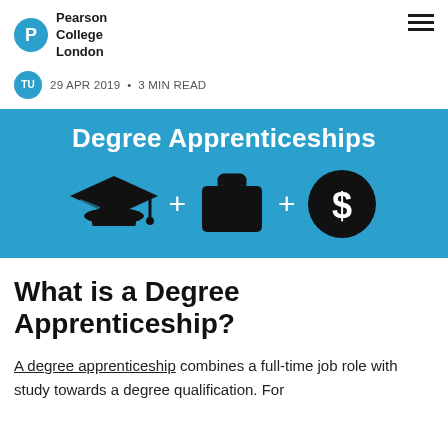Pearson College London
29 APR 2019 • 3 MIN READ
[Figure (infographic): Blue banner with title 'Degree Apprenticeships' and three icons: a graduation cap, a briefcase, and a dollar-sign coin, connected by plus signs]
What is a Degree Apprenticeship?
A degree apprenticeship combines a full-time job role with study towards a degree qualification. For